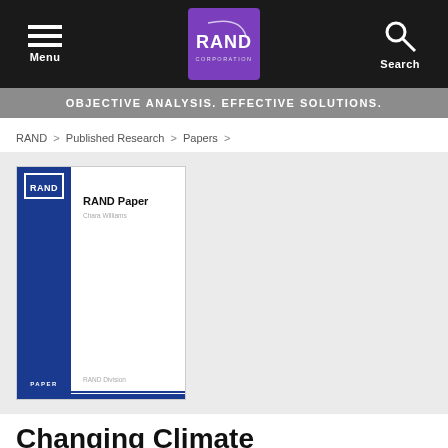Menu | RAND Corporation | Search
OBJECTIVE ANALYSIS. EFFECTIVE SOLUTIONS.
RAND > Published Research > Papers >
[Figure (other): RAND Paper publication cover thumbnail showing blue spine with RAND badge and PAPER label, white interior with 'RAND Paper' title, author name, and RAND Division text]
Changing Climate
by J.O. Fletcher